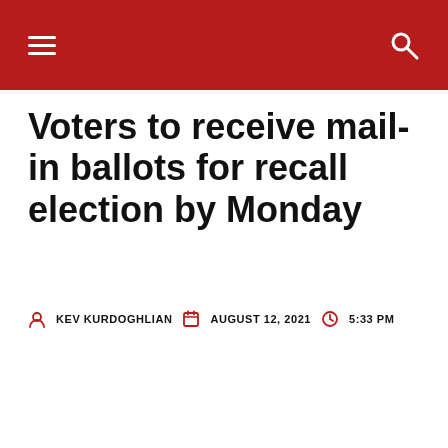Navigation header with menu and search icons
Voters to receive mail-in ballots for recall election by Monday
KEV KURDOGHLIAN   AUGUST 12, 2021   5:33 PM